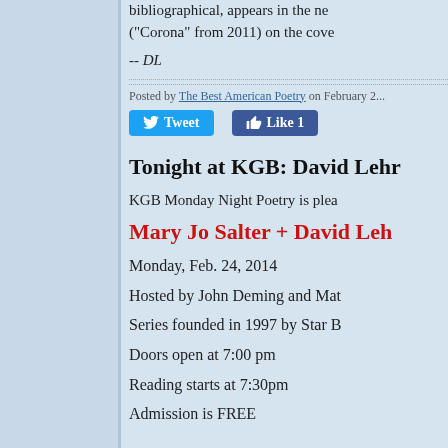bibliographical, appears in the ne... ("Corona" from 2011) on the cove...
-- DL
Posted by The Best American Poetry on February 2...
Tweet | Like 1
Tonight at KGB: David Lehr...
KGB Monday Night Poetry is plea...
Mary Jo Salter + David Leh...
Monday, Feb. 24, 2014
Hosted by John Deming and Mat...
Series founded in 1997 by Star B...
Doors open at 7:00 pm
Reading starts at 7:30pm
Admission is FREE